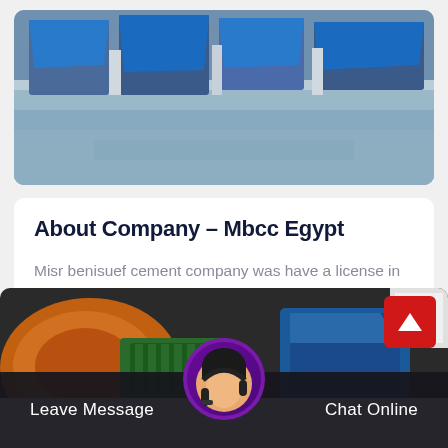[Figure (photo): Industrial machinery (blue/grey hoppers or conveyors) inside a large warehouse facility with concrete floor.]
About Company – Mbcc Egypt
Misr benisuef cement company was have a license in 1997 with no 840 09111997 to built a plant in benisuef misr benisuef cement compa…
[Figure (photo): Industrial equipment including green and blue machinery components, partially visible.]
Leave Message
Chat Online